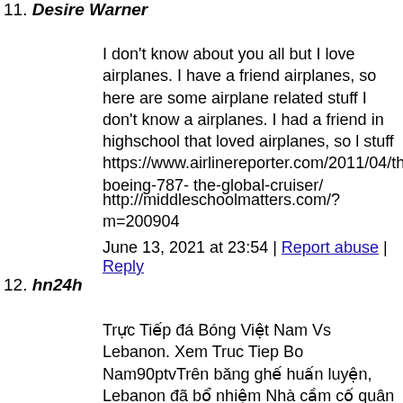11. Desire Warner
I don't know about you all but I love airplanes. I have a friend airplanes, so here are some airplane related stuff I don't know a airplanes. I had a friend in highschool that loved airplanes, so l stuff https://www.airlinereporter.com/2011/04/the-boeing-787- the-global-cruiser/
http://middleschoolmatters.com/?m=200904
June 13, 2021 at 23:54 | Report abuse | Reply
12. hn24h
Trực Tiếp đá Bóng Việt Nam Vs Lebanon. Xem Truc Tiep Bo Nam90ptvTrên băng ghế huấn luyện, Lebanon đã bổ nhiệm Nhà cầm cố quân nhân viên Tây Ban Nha công ty yếu ớt thụ thời gian làm việc trên Kuwait.|Và NHM bóng đá Việt Nam đ đồng đội hóa giải đối thủ để tạo lợi thế đến trận lượt về tạ phải trải qua 8 phút bù giờ không thở được bảo vệ thành côn
https://chiefscreolecafe.com/detail/truc-tiep-bong-da-90-phut-
June 14, 2021 at 21:58 | Report abuse | Reply
13. Ivory Neice
Have you ever heard of second life (sl for short). It is basically